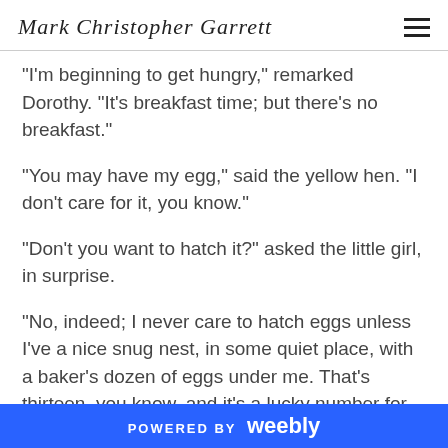Mark Christopher Garrett
"I'm beginning to get hungry," remarked Dorothy. "It's breakfast time; but there's no breakfast."
"You may have my egg," said the yellow hen. "I don't care for it, you know."
"Don't you want to hatch it?" asked the little girl, in surprise.
"No, indeed; I never care to hatch eggs unless I've a nice snug nest, in some quiet place, with a baker's dozen of eggs under me. That's thirteen, you know, and it's a lucky number for hens. So you may as well eat this egg."
POWERED BY weebly